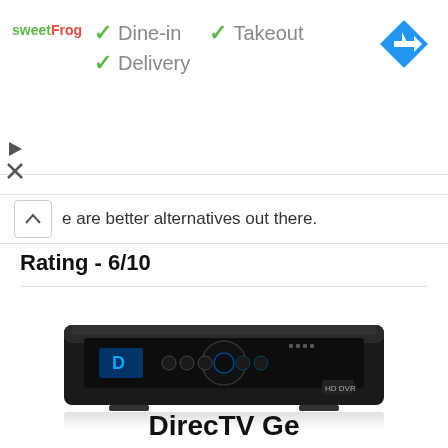[Figure (screenshot): Ad banner for sweetFrog showing Dine-in, Takeout, Delivery checkmarks and a navigation diamond icon]
e are better alternatives out there.
Rating - 6/10
[Figure (photo): Photo of a DirecTV set-top box / DVR device, black rectangular, with blue logo and circular control panel on front face, shown with a slight reflection below]
DirecTV Genie